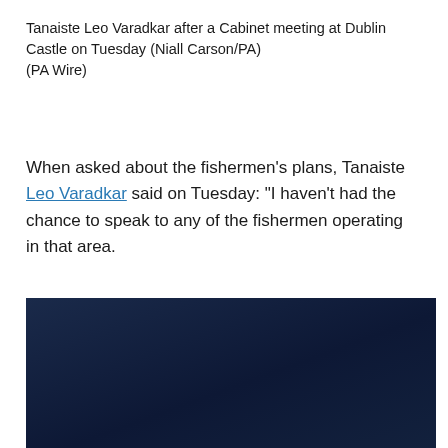Tanaiste Leo Varadkar after a Cabinet meeting at Dublin Castle on Tuesday (Niall Carson/PA)
(PA Wire)
When asked about the fishermen’s plans, Tanaiste Leo Varadkar said on Tuesday: “I haven’t had the chance to speak to any of the fishermen operating in that area.
“I suppose I would just say to them that these are military vessels. Whatever they choose to do in terms of any protests, just make sure that they don’t put themselves at risk.”
[Figure (photo): Dark navy blue background image, likely a video thumbnail or photo with very low exposure]